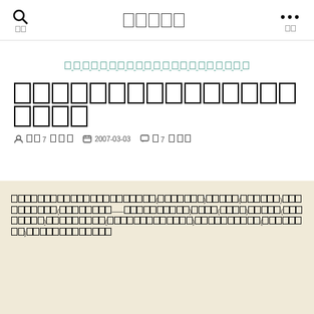[search icon] [nav title boxes] [menu dots]
[category link in CJK characters]
[CJK post title in large bold characters]
作者: [CJK name]  2007-03-03  [comment count] 7 [CJK]
[CJK body text paragraph]